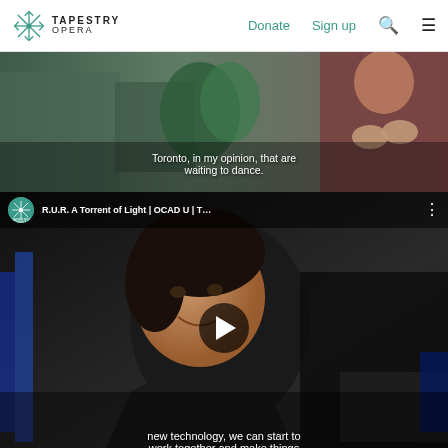Tapestry Opera — Donate | Sign up | Search | Menu
[Figure (screenshot): Partial video thumbnail showing two people in a room with plants; subtitle reads: 'Toronto, in my opinion, that are waiting to dance.']
[Figure (screenshot): YouTube video thumbnail for 'R.U.R. A Torrent of Light | OCAD U | T...' by Tapestry Opera, showing a smiling man; subtitle reads: 'new technology, we can start to work together and make things'. Play button visible in center.]